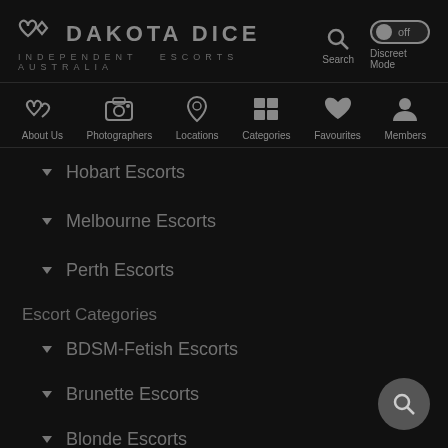DAKOTA DICE — INDEPENDENT ESCORTS AUSTRALIA
[Figure (screenshot): Navigation icon bar with About Us, Photographers, Locations, Categories, Favourites, Members]
Hobart Escorts
Melbourne Escorts
Perth Escorts
Escort Categories
BDSM-Fetish Escorts
Brunette Escorts
Blonde Escorts